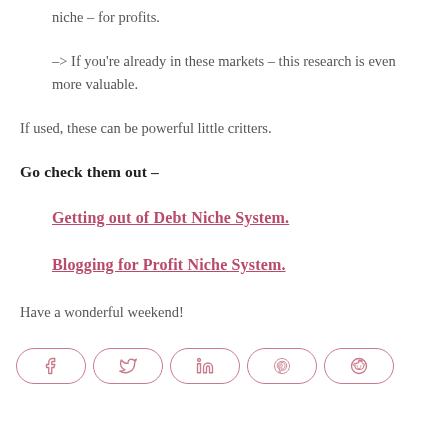niche – for profits.
–> If you're already in these markets – this research is even more valuable.
If used, these can be powerful little critters.
Go check them out –
Getting out of Debt Niche System.
Blogging for Profit Niche System.
Have a wonderful weekend!
[Figure (other): Social sharing buttons: Facebook, Twitter, LinkedIn, Pinterest, Reddit]